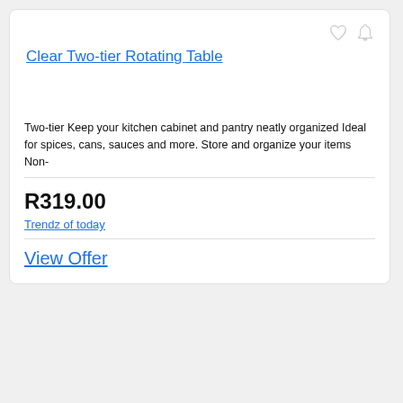Clear Two-tier Rotating Table
Two-tier Keep your kitchen cabinet and pantry neatly organized Ideal for spices, cans, sauces and more. Store and organize your items Non-
R319.00
Trendz of today
View Offer